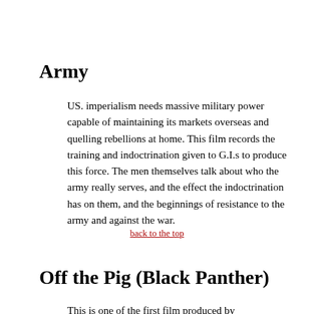Army
US. imperialism needs massive military power capable of maintaining its markets overseas and quelling rebellions at home. This film records the training and indoctrination given to G.I.s to produce this force. The men themselves talk about who the army really serves, and the effect the indoctrination has on them, and the beginnings of resistance to the army and against the war.
back to the top
Off the Pig (Black Panther)
This is one of the first films produced by...